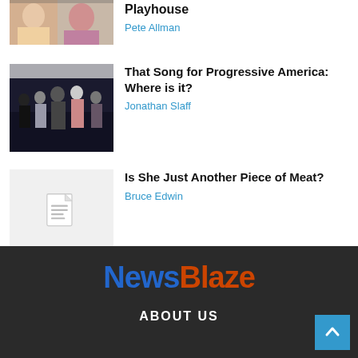[Figure (photo): Partial photo of people at top of page]
Playhouse
Pete Allman
[Figure (photo): Group of performers on stage, singing]
That Song for Progressive America: Where is it?
Jonathan Slaff
[Figure (illustration): Document placeholder icon]
Is She Just Another Piece of Meat?
Bruce Edwin
NewsBlaze
ABOUT US